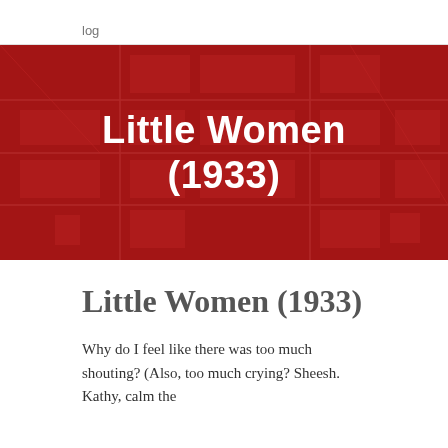log
[Figure (illustration): Dark red hero banner with abstract street map or board game pattern overlaid in slightly lighter red, with white bold text reading 'Little Women (1933)' centered on the banner.]
Little Women (1933)
Why do I feel like there was too much shouting? (Also, too much crying? Sheesh. Kathy, calm the